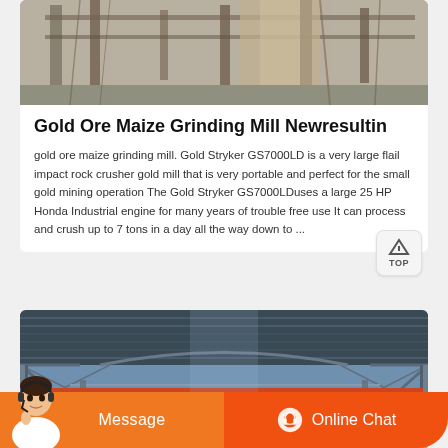[Figure (photo): Photo of gold ore grinding mill machinery — outdoor industrial equipment with wooden/metal structures]
Gold Ore Maize Grinding Mill Newresultin
gold ore maize grinding mill. Gold Stryker GS7000LD is a very large flail impact rock crusher gold mill that is very portable and perfect for the small gold mining operation The Gold Stryker GS7000LDuses a large 25 HP Honda Industrial engine for many years of trouble free use It can process and crush up to 7 tons in a day all the way down to ...
[Figure (photo): Photo of a large industrial warehouse interior with steel roof trusses and red overhead cranes]